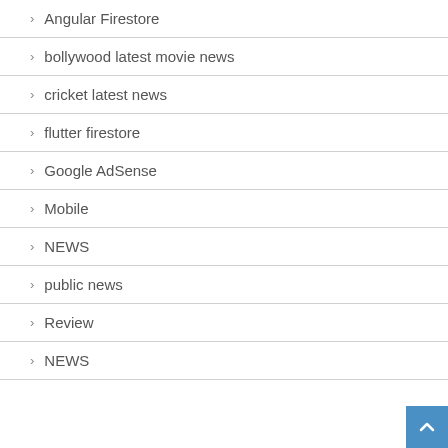Angular Firestore
bollywood latest movie news
cricket latest news
flutter firestore
Google AdSense
Mobile
NEWS
public news
Review
NEWS